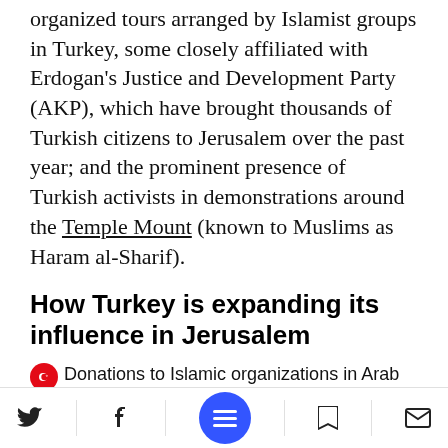organized tours arranged by Islamist groups in Turkey, some closely affiliated with Erdogan's Justice and Development Party (AKP), which have brought thousands of Turkish citizens to Jerusalem over the past year; and the prominent presence of Turkish activists in demonstrations around the Temple Mount (known to Muslims as Haram al-Sharif).
How Turkey is expanding its influence in Jerusalem
Donations to Islamic organizations in Arab neighborhoods
Purchasing real estate in East Jerusalem
Navigation bar with Twitter, Facebook, menu, bookmark, and mail icons